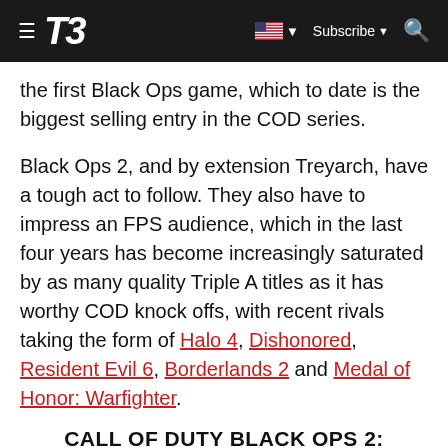T3 — Subscribe
the first Black Ops game, which to date is the biggest selling entry in the COD series.
Black Ops 2, and by extension Treyarch, have a tough act to follow. They also have to impress an FPS audience, which in the last four years has become increasingly saturated by as many quality Triple A titles as it has worthy COD knock offs, with recent rivals taking the form of Halo 4, Dishonored, Resident Evil 6, Borderlands 2 and Medal of Honor: Warfighter.
CALL OF DUTY BLACK OPS 2: GAMEPLAY
Perhaps aware of all this, Treyarch has made a couple of notable tweaks and innovations to the formula that shot the